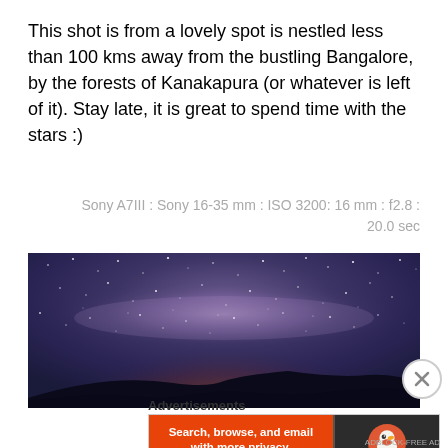This shot is from a lovely spot is nestled less than 100 kms away from the bustling Bangalore, by the forests of Kanakapura (or whatever is left of it). Stay late, it is great to spend time with the stars :)
Sony A7III : Sony 16-35 mm : ISO 3200: 16 mm : f2.8 : 20.0 sec
[Figure (photo): Night sky panoramic photo showing the Milky Way galaxy with stars over a dark landscape/hillside, taken near Kanakapura forests outside Bangalore]
Advertisements
[Figure (screenshot): DuckDuckGo advertisement banner: orange left panel with 'Search, browse, and email with more privacy. All in One Free App' text, dark right panel with DuckDuckGo duck logo and brand name]